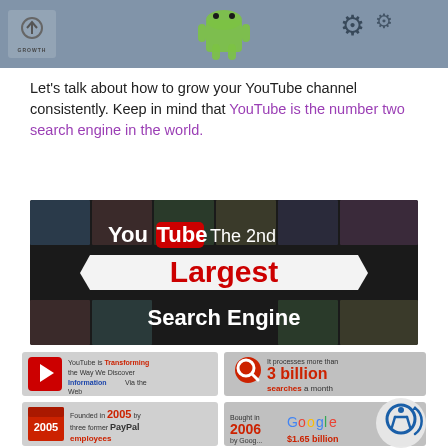[Figure (illustration): Top banner showing growth logo on left, large green Android robot figure in center, gear icons, dark background]
Let’s talk about how to grow your YouTube channel consistently. Keep in mind that YouTube is the number two search engine in the world.
[Figure (infographic): YouTube The 2nd Largest Search Engine banner image with YouTube logo, ribbon/banner style graphic on dark mosaic background]
[Figure (infographic): Infographic section: YouTube is Transforming the Way We Discover Information Via the Web (with YouTube play button icon); It processes more than 3 billion searches a month (with magnifying glass icon); Founded in 2005 by three former PayPal employees (with calendar icon); Bought in 2006 by Google for $1.65 billion (with Google logo)]